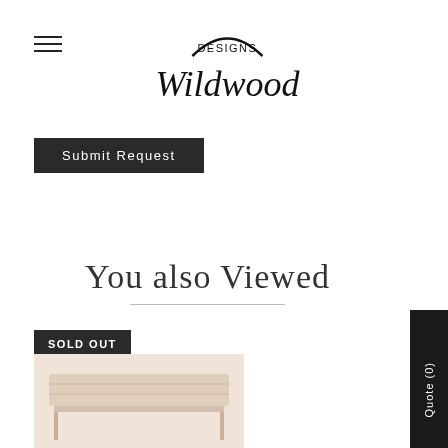[Figure (logo): Wildwood Designs logo with cursive script and arc above]
Submit Request
You also Viewed
SOLD OUT
[Figure (photo): Product image showing a piece of furniture on a light background]
Quote (0)